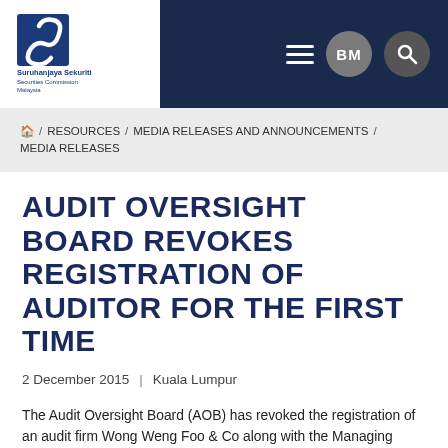[Figure (logo): Suruhanjaya Sekuriti Securities Commission Malaysia logo — blue wave icon with text]
BM | Search icon | Hamburger menu
🏠 / RESOURCES / MEDIA RELEASES AND ANNOUNCEMENTS / MEDIA RELEASES
AUDIT OVERSIGHT BOARD REVOKES REGISTRATION OF AUDITOR FOR THE FIRST TIME
2 December 2015  |  Kuala Lumpur
The Audit Oversight Board (AOB) has revoked the registration of an audit firm Wong Weng Foo & Co along with the Managing Partner, Wong Weng Foo and its Partner, Abdul Halim Husin effective from 2 December 2015.
The revocation is under section 31C(1)(a)(B) of the